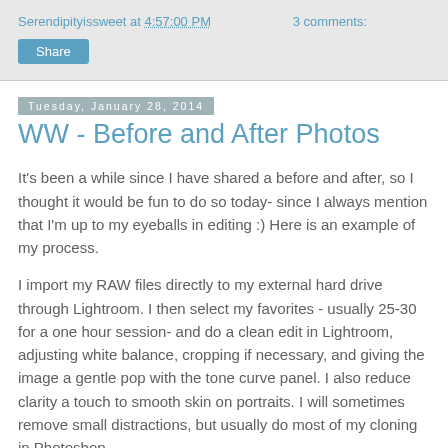Serendipityissweet at 4:57:00 PM   3 comments:
Share
Tuesday, January 28, 2014
WW - Before and After Photos
It's been a while since I have shared a before and after, so I thought it would be fun to do so today- since I always mention that I'm up to my eyeballs in editing :) Here is an example of my process.
I import my RAW files directly to my external hard drive through Lightroom. I then select my favorites - usually 25-30 for a one hour session- and do a clean edit in Lightroom, adjusting white balance, cropping if necessary, and giving the image a gentle pop with the tone curve panel. I also reduce clarity a touch to smooth skin on portraits. I will sometimes remove small distractions, but usually do most of my cloning in Photoshop.